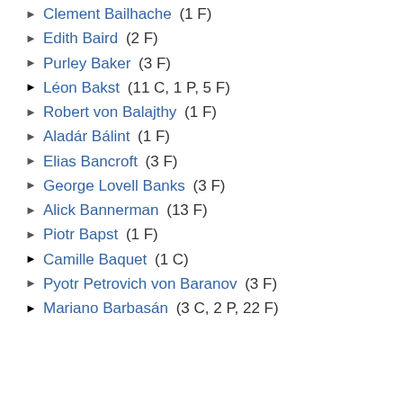Clement Bailhache (1 F)
Edith Baird (2 F)
Purley Baker (3 F)
Léon Bakst (11 C, 1 P, 5 F)
Robert von Balajthy (1 F)
Aladár Bálint (1 F)
Elias Bancroft (3 F)
George Lovell Banks (3 F)
Alick Bannerman (13 F)
Piotr Bapst (1 F)
Camille Baquet (1 C)
Pyotr Petrovich von Baranov (3 F)
Mariano Barbasán (3 C, 2 P, 22 F)